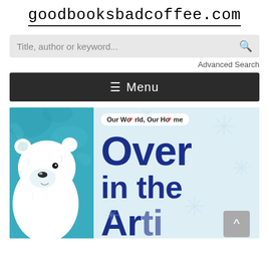goodbooksbadcoffee.com
[Figure (screenshot): Search bar with placeholder text 'Title, author or keyword...' and a search icon on the right]
Advanced Search
≡ Menu
[Figure (photo): Book cover for 'Over in the Arctic' from the 'Our World, Our Home' series, showing a polar bear on a teal background on the left, and the book title text 'Over in the' in dark blue on a light snowy background on the right]